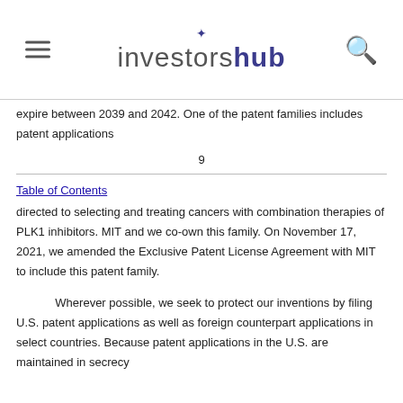investorshub
expire between 2039 and 2042. One of the patent families includes patent applications
9
Table of Contents
directed to selecting and treating cancers with combination therapies of PLK1 inhibitors. MIT and we co-own this family. On November 17, 2021, we amended the Exclusive Patent License Agreement with MIT to include this patent family.
Wherever possible, we seek to protect our inventions by filing U.S. patent applications as well as foreign counterpart applications in select countries. Because patent applications in the U.S. are maintained in secrecy